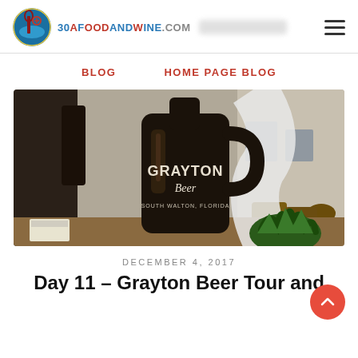30aFoodandWine.com
BLOG
HOME PAGE BLOG
[Figure (photo): A dark glass growler bottle with 'Grayton Beer South Walton, Florida' branding on a wooden table, with a green succulent plant and industrial brewery background.]
DECEMBER 4, 2017
Day 11 – Grayton Beer Tour and